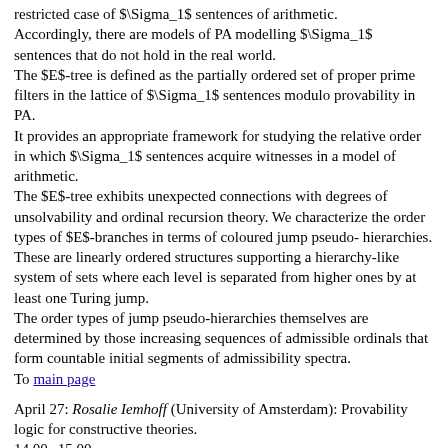restricted case of $\Sigma_1$ sentences of arithmetic. Accordingly, there are models of PA modelling $\Sigma_1$ sentences that do not hold in the real world.
The $E$-tree is defined as the partially ordered set of proper prime filters in the lattice of $\Sigma_1$ sentences modulo provability in PA.
It provides an appropriate framework for studying the relative order in which $\Sigma_1$ sentences acquire witnesses in a model of arithmetic.
The $E$-tree exhibits unexpected connections with degrees of unsolvability and ordinal recursion theory. We characterize the order types of $E$-branches in terms of coloured jump pseudo-hierarchies.
These are linearly ordered structures supporting a hierarchy-like system of sets where each level is separated from higher ones by at least one Turing jump.
The order types of jump pseudo-hierarchies themselves are determined by those increasing sequences of admissible ordinals that form countable initial segments of admissibility spectra.
To main page
April 27: Rosalie Iemhoff (University of Amsterdam): Provability logic for constructive theories.
14.00--15.00
Abstract: The provability logic of a theory consists of the